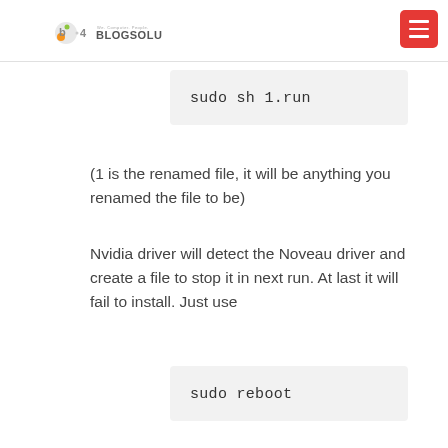Blogsolute — We. Computer. People.
sudo sh 1.run
(1 is the renamed file, it will be anything you renamed the file to be)
Nvidia driver will detect the Noveau driver and create a file to stop it in next run. At last it will fail to install. Just use
sudo reboot
to reboot your computer. After